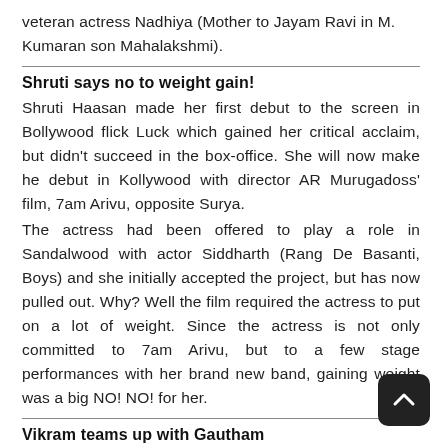veteran actress Nadhiya (Mother to Jayam Ravi in M. Kumaran son Mahalakshmi).
Shruti says no to weight gain!
Shruti Haasan made her first debut to the screen in Bollywood flick Luck which gained her critical acclaim, but didn't succeed in the box-office. She will now make he debut in Kollywood with director AR Murugadoss' film, 7am Arivu, opposite Surya.
The actress had been offered to play a role in Sandalwood with actor Siddharth (Rang De Basanti, Boys) and she initially accepted the project, but has now pulled out. Why? Well the film required the actress to put on a lot of weight. Since the actress is not only committed to 7am Arivu, but to a few stage performances with her brand new band, gaining weight was a big NO! NO! for her.
Vikram teams up with Gautham